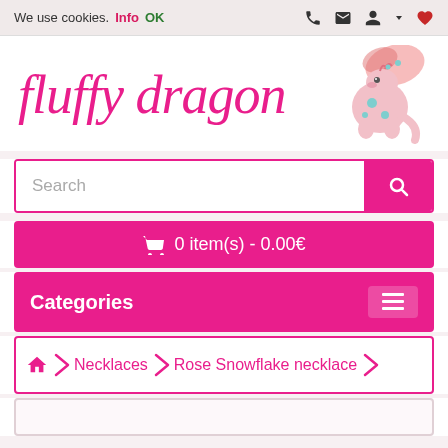We use cookies. Info OK
[Figure (logo): Fluffy Dragon logo with pink cursive text and cartoon pink dragon illustration]
Search
0 item(s) - 0.00€
Categories
Home > Necklaces > Rose Snowflake necklace